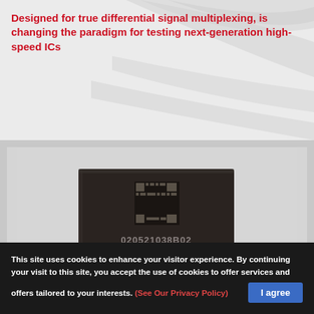Designed for true differential signal multiplexing, is changing the paradigm for testing next-generation high-speed ICs
[Figure (photo): Close-up photo of a dark square integrated circuit (IC) chip on a light grey background. The chip is labeled with markings including '020521038B02', 'B3530709', 'B3530709', and a QR/barcode pattern near the top.]
This site uses cookies to enhance your visitor experience. By continuing your visit to this site, you accept the use of cookies to offer services and offers tailored to your interests. (See Our Privacy Policy)